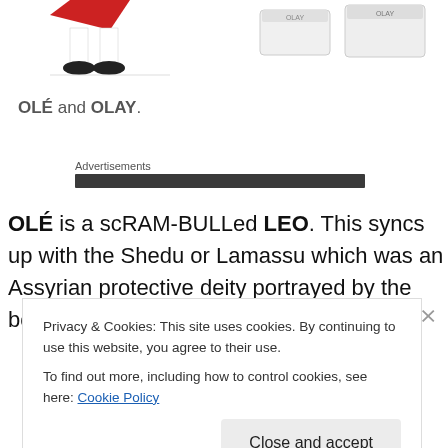[Figure (illustration): Partial illustration showing lower body of a figure with red costume and black shoes, white legs, on a white background]
[Figure (photo): Product box/packaging on a white background]
OLÉ and OLAY.
Advertisements
OLÉ is a scRAM-BULLed LEO. This syncs up with the Shedu or Lamassu which was an Assyrian protective deity portrayed by the body of a LION or a BULL. The
Privacy & Cookies: This site uses cookies. By continuing to use this website, you agree to their use.
To find out more, including how to control cookies, see here: Cookie Policy
Close and accept